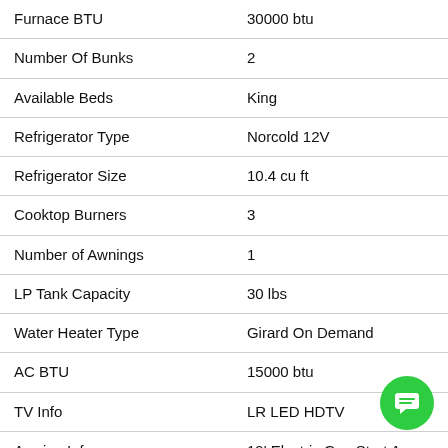| Attribute | Value |
| --- | --- |
| Furnace BTU | 30000 btu |
| Number Of Bunks | 2 |
| Available Beds | King |
| Refrigerator Type | Norcold 12V |
| Refrigerator Size | 10.4 cu ft |
| Cooktop Burners | 3 |
| Number of Awnings | 1 |
| LP Tank Capacity | 30 lbs |
| Water Heater Type | Girard On Demand |
| AC BTU | 15000 btu |
| TV Info | LR LED HDTV |
| Awning Info | 19' Electric Gas Strut Arm |